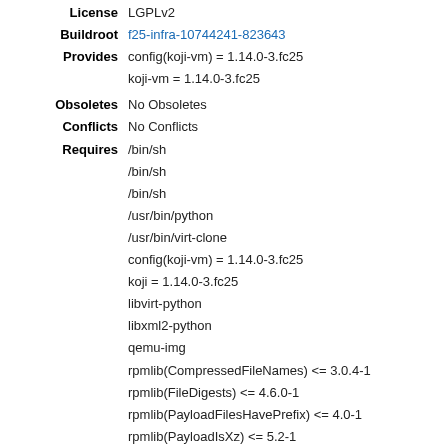License: LGPLv2
Buildroot: f25-infra-10744241-823643
Provides: config(koji-vm) = 1.14.0-3.fc25
koji-vm = 1.14.0-3.fc25
Obsoletes: No Obsoletes
Conflicts: No Conflicts
Requires: /bin/sh
/bin/sh
/bin/sh
/usr/bin/python
/usr/bin/virt-clone
config(koji-vm) = 1.14.0-3.fc25
koji = 1.14.0-3.fc25
libvirt-python
libxml2-python
qemu-img
rpmlib(CompressedFileNames) <= 3.0.4-1
rpmlib(FileDigests) <= 4.6.0-1
rpmlib(PayloadFilesHavePrefix) <= 4.0-1
rpmlib(PayloadIsXz) <= 5.2-1